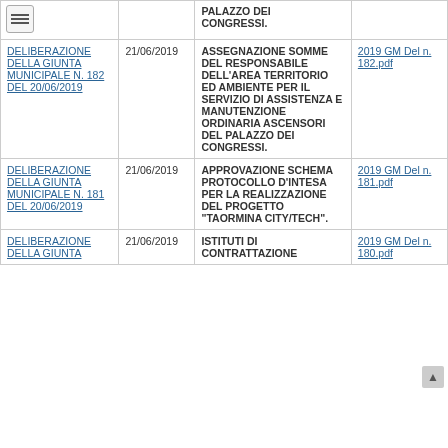| Atto | Data | Oggetto | Allegati |
| --- | --- | --- | --- |
|  |  | PALAZZO DEI CONGRESSI. |  |
| DELIBERAZIONE DELLA GIUNTA MUNICIPALE N. 182 DEL 20/06/2019 | 21/06/2019 | ASSEGNAZIONE SOMME DEL RESPONSABILE DELL'AREA TERRITORIO ED AMBIENTE PER IL SERVIZIO DI ASSISTENZA E MANUTENZIONE ORDINARIA ASCENSORI DEL PALAZZO DEI CONGRESSI. | 2019 GM Del n. 182.pdf |
| DELIBERAZIONE DELLA GIUNTA MUNICIPALE N. 181 DEL 20/06/2019 | 21/06/2019 | APPROVAZIONE SCHEMA PROTOCOLLO D'INTESA PER LA REALIZZAZIONE DEL PROGETTO "TAORMINA CITY/TECH". | 2019 GM Del n. 181.pdf |
| DELIBERAZIONE DELLA GIUNTA MUNICIPALE N. 180 DEL ... | 21/06/2019 | ISTITUTI DI CONTRATTAZIONE ... | 2019 GM Del n. 180.pdf |